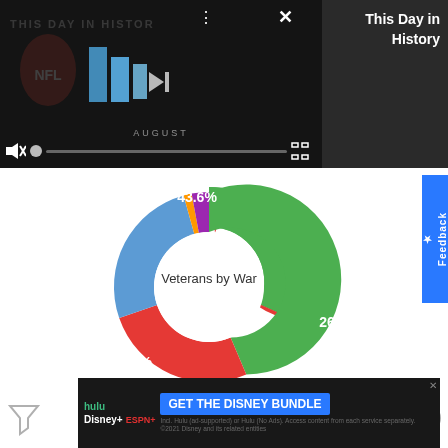[Figure (screenshot): Video player showing 'This Day in History' NFL content with playback controls, mute icon, progress bar, three-dot menu, and close button. Right side shows dark panel with title 'This Day in History'.]
[Figure (donut-chart): Veterans by War]
[Figure (screenshot): Ad banner for Disney Bundle showing Hulu, Disney+, and ESPN+ logos with 'GET THE DISNEY BUNDLE' call to action button.]